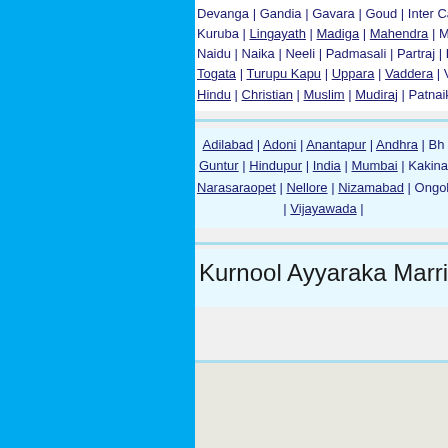Devanga | Gandia | Gavara | Goud | Inter Ca... Kuruba | Lingayath | Madiga | Mahendra | Ma... Naidu | Naika | Neeli | Padmasali | Partraj | P... Togata | Turupu Kapu | Uppara | Vaddera | Va... Hindu | Christian | Muslim | Mudiraj | Patnaik
Adilabad | Adoni | Anantapur | Andhra | Bh... Guntur | Hindupur | India | Mumbai | Kakina... Narasaraopet | Nellore | Nizamabad | Ongole... | Vijayawada |
Kurnool Ayyaraka Marriage